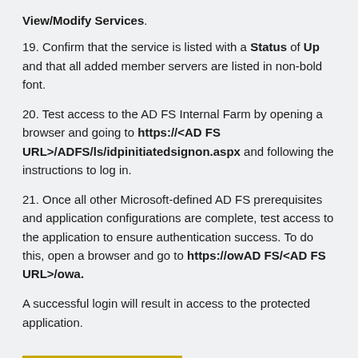View/Modify Services.
19. Confirm that the service is listed with a Status of Up and that all added member servers are listed in non-bold font.
20. Test access to the AD FS Internal Farm by opening a browser and going to https://<AD FS URL>/ADFS/ls/idpinitiatedsignon.aspx and following the instructions to log in.
21. Once all other Microsoft-defined AD FS prerequisites and application configurations are complete, test access to the application to ensure authentication success. To do this, open a browser and go to https://owAD FS/<AD FS URL>/owa.
A successful login will result in access to the protected application.